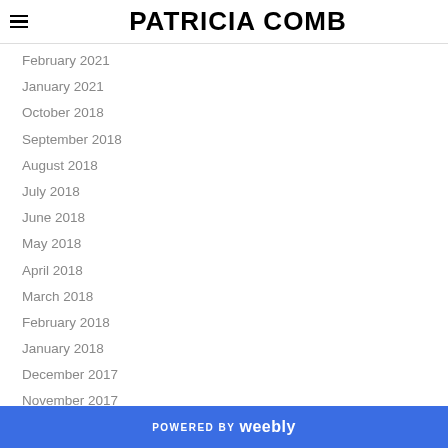PATRICIA COMB
February 2021
January 2021
October 2018
September 2018
August 2018
July 2018
June 2018
May 2018
April 2018
March 2018
February 2018
January 2018
December 2017
November 2017
October 2017
September 2017
POWERED BY weebly